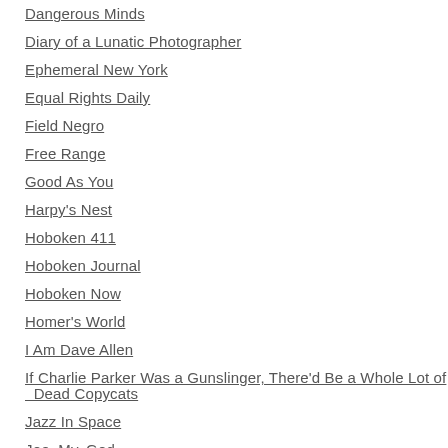Dangerous Minds
Diary of a Lunatic Photographer
Ephemeral New York
Equal Rights Daily
Field Negro
Free Range
Good As You
Harpy's Nest
Hoboken 411
Hoboken Journal
Hoboken Now
Homer's World
I Am Dave Allen
If Charlie Parker Was a Gunslinger, There'd Be a Whole Lot of Dead Copycats
Jazz In Space
Joe. My. God.
Just a Thought
Keith Boykin